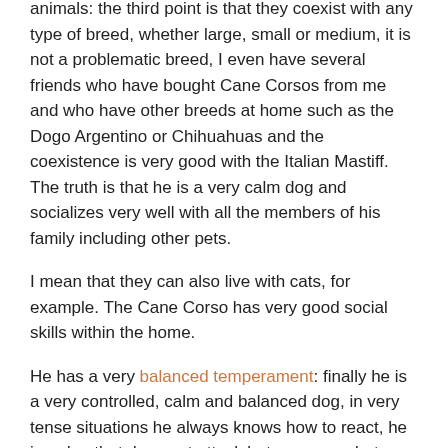animals: the third point is that they coexist with any type of breed, whether large, small or medium, it is not a problematic breed, I even have several friends who have bought Cane Corsos from me and who have other breeds at home such as the Dogo Argentino or Chihuahuas and the coexistence is very good with the Italian Mastiff. The truth is that he is a very calm dog and socializes very well with all the members of his family including other pets.
I mean that they can also live with cats, for example. The Cane Corso has very good social skills within the home.
He has a very balanced temperament: finally he is a very controlled, calm and balanced dog, in very tense situations he always knows how to react, he is a dog that does not attack but warns or alerts.
For example, if the postman arrives home he can surely alert his master of the arrival of a new person